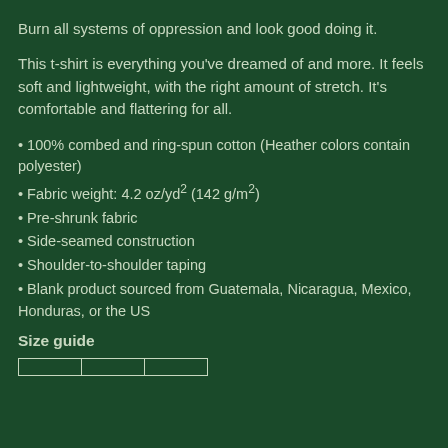Burn all systems of oppression and look good doing it.
This t-shirt is everything you've dreamed of and more. It feels soft and lightweight, with the right amount of stretch. It's comfortable and flattering for all.
• 100% combed and ring-spun cotton (Heather colors contain polyester)
• Fabric weight: 4.2 oz/yd² (142 g/m²)
• Pre-shrunk fabric
• Side-seamed construction
• Shoulder-to-shoulder taping
• Blank product sourced from Guatemala, Nicaragua, Mexico, Honduras, or the US
Size guide
|  |  |  |